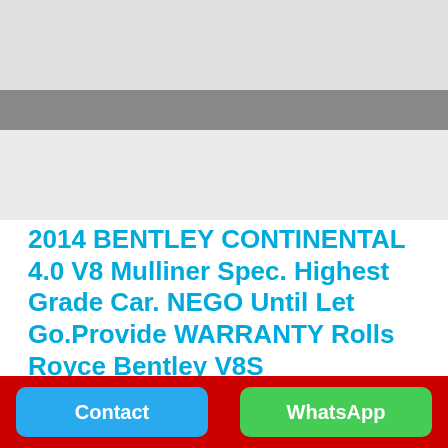[Figure (photo): Car listing image placeholder with light gray top section, dark gray horizontal bar, and lighter gray bottom section]
2014 BENTLEY CONTINENTAL 4.0 V8 Mulliner Spec. Highest Grade Car. NEGO Until Let Go.Provide WARRANTY Rolls Royce Bentley V8S
price text (partially visible)
Contact
WhatsApp